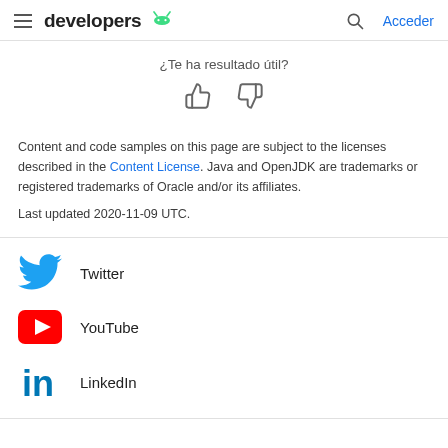developers [Android logo] | Acceder
¿Te ha resultado útil?
Content and code samples on this page are subject to the licenses described in the Content License. Java and OpenJDK are trademarks or registered trademarks of Oracle and/or its affiliates.
Last updated 2020-11-09 UTC.
Twitter
YouTube
LinkedIn